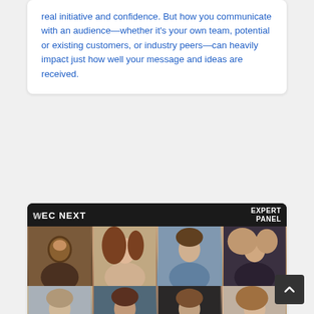real initiative and confidence. But how you communicate with an audience—whether it’s your own team, potential or existing customers, or industry peers—can heavily impact just how well your message and ideas are received.
[Figure (photo): YEC NEXT Expert Panel showing a 4x2 grid of 8 professional headshot photos with the YEC NEXT logo and EXPERT PANEL text overlay on a dark header bar]
Eight Traits To Value When Looking For The Right Co-Founder